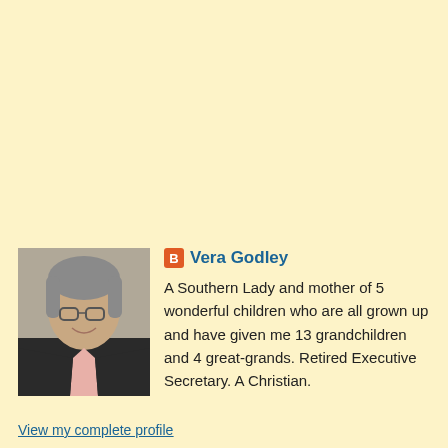[Figure (photo): Profile photo of Vera Godley, a woman with gray hair, glasses, wearing a dark jacket, smiling]
Vera Godley
A Southern Lady and mother of 5 wonderful children who are all grown up and have given me 13 grandchildren and 4 great-grands. Retired Executive Secretary. A Christian.